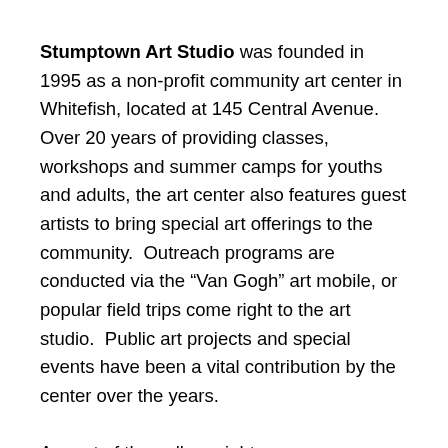Stumptown Art Studio was founded in 1995 as a non-profit community art center in Whitefish, located at 145 Central Avenue.  Over 20 years of providing classes, workshops and summer camps for youths and adults, the art center also features guest artists to bring special art offerings to the community.  Outreach programs are conducted via the “Van Gogh” art mobile, or popular field trips come right to the art studio.  Public art projects and special events have been a vital contribution by the center over the years.
As part of the gallery night season, Stumptown Art Studio features a different exhibit every month from May-October, along with retail art sales by local artists. As walk-in art projects, the center offers pottery painting, glass fusing or creating an embellished piece of art anytime during open hours:  Monday-Saturday, 10